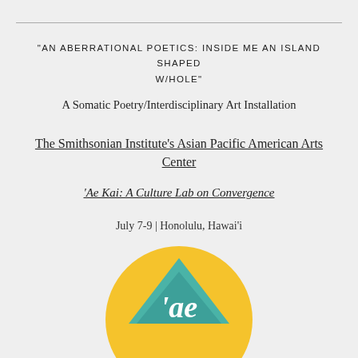"AN ABERRATIONAL POETICS: INSIDE ME AN ISLAND SHAPED W/HOLE"
A Somatic Poetry/Interdisciplinary Art Installation
The Smithsonian Institute's Asian Pacific American Arts Center
'Ae Kai: A Culture Lab on Convergence
July 7-9 | Honolulu, Hawai'i
[Figure (logo): Circular logo with yellow background and teal mountain/diamond shapes with stylized 'ae' text in white serif font]